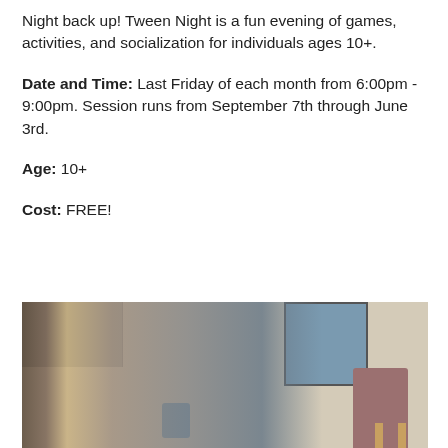Night back up! Tween Night is a fun evening of games, activities, and socialization for individuals ages 10+.
Date and Time: Last Friday of each month from 6:00pm - 9:00pm. Session runs from September 7th through June 3rd.
Age: 10+
Cost: FREE!
[Figure (photo): Photo of children and an adult gathered around a table in a room with cabinets, a blue recycling bin, and chairs visible in the background.]